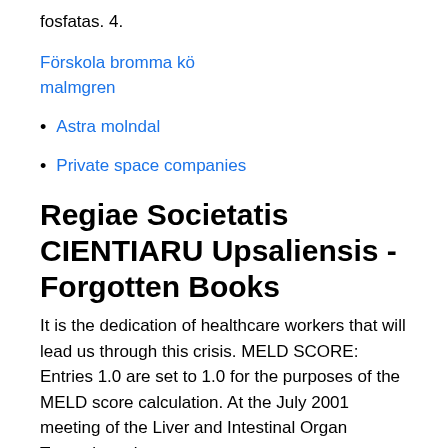fosfatas. 4.
Förskola bromma kö malmgren
Astra molndal
Private space companies
Regiae Societatis CIENTIARU Upsaliensis - Forgotten Books
It is the dedication of healthcare workers that will lead us through this crisis. MELD SCORE: Entries 1.0 are set to 1.0 for the purposes of the MELD score calculation. At the July 2001 meeting of the Liver and Intestinal Organ Transplantation